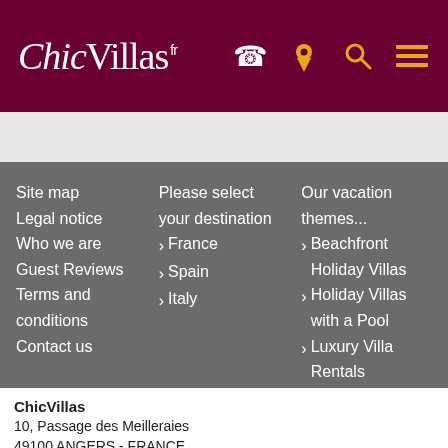[Figure (logo): ChicVillas logo in white italic serif font on dark maroon background, with phone, map pin, search, and menu icons in orange/white on the right]
Site map
Legal notice
Who we are
Guest Reviews
Terms and conditions
Contact us
Please select your destination
> France
> Spain
> Italy
Our vacation themes...
> Beachfront Holiday Villas
> Holiday Villas with a Pool
> Luxury Villa Rentals
> Holiday Chateau
> rent a luxury villa in France
ChicVillas
10, Passage des Meilleraies
49100 ANGERS - FRANCE